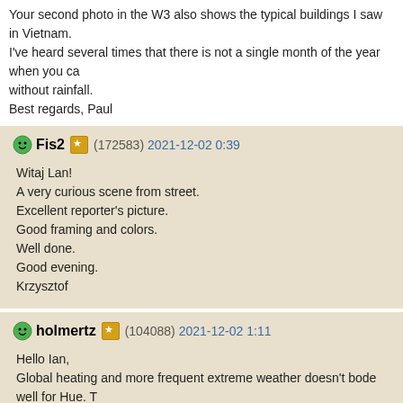Your second photo in the W3 also shows the typical buildings I saw in Vietnam. I've heard several times that there is not a single month of the year when you ca... without rainfall.
Best regards, Paul
Fis2 (172583) 2021-12-02 0:39
Witaj Lan!
A very curious scene from street.
Excellent reporter's picture.
Good framing and colors.
Well done.
Good evening.
Krzysztof
holmertz (104088) 2021-12-02 1:11
Hello Ian,
Global heating and more frequent extreme weather doesn't bode well for Hue. T... fascinating. They are all well taken but rather scary.
Regards,
Gert
jhm (211738) 2021-12-02 5:48